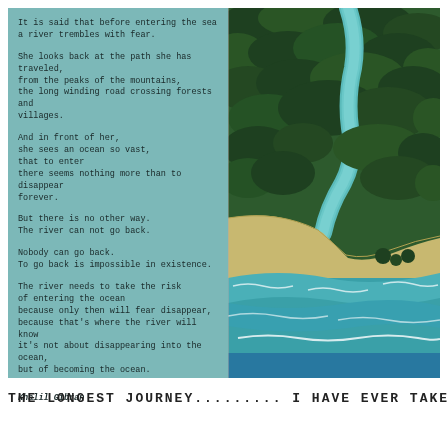It is said that before entering the sea
a river trembles with fear.

She looks back at the path she has traveled,
from the peaks of the mountains,
the long winding road crossing forests and
villages.

And in front of her,
she sees an ocean so vast,
that to enter
there seems nothing more than to disappear
forever.

But there is no other way.
The river can not go back.

Nobody can go back.
To go back is impossible in existence.

The river needs to take the risk
of entering the ocean
because only then will fear disappear,
because that's where the river will know
it's not about disappearing into the ocean,
but of becoming the ocean.

Khalil Gibran
[Figure (photo): Aerial photograph of a river winding through dense green tropical forest, meeting a sandy beach at the ocean. The turquoise-green ocean water with white waves is visible in the lower portion.]
THE LONGEST JOURNEY......... I HAVE EVER TAKEN IS